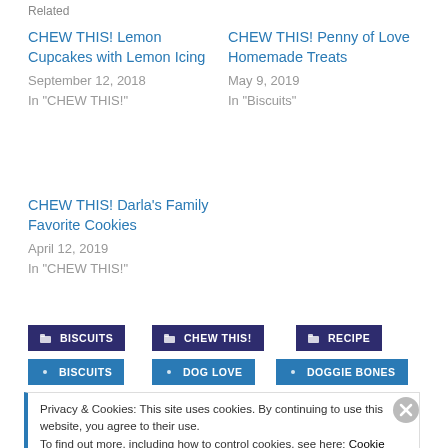Related
CHEW THIS! Lemon Cupcakes with Lemon Icing
September 12, 2018
In "CHEW THIS!"
CHEW THIS! Penny of Love Homemade Treats
May 9, 2019
In "Biscuits"
CHEW THIS! Darla's Family Favorite Cookies
April 12, 2019
In "CHEW THIS!"
BISCUITS
CHEW THIS!
RECIPE
BISCUITS
DOG LOVE
DOGGIE BONES
Privacy & Cookies: This site uses cookies. By continuing to use this website, you agree to their use.
To find out more, including how to control cookies, see here: Cookie Policy
Close and accept